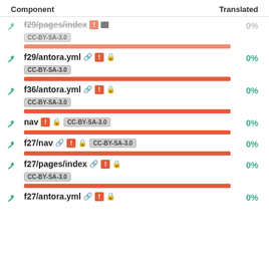Component   Translated
f29/pages/index  [!] [lock]  CC-BY-SA-3.0  0%
f29/antora.yml [link] [!] [lock]  CC-BY-SA-3.0  0%
f36/antora.yml [link] [!] [lock]  CC-BY-SA-3.0  0%
nav [!] [lock]  CC-BY-SA-3.0  0%
f27/nav [link] [!] [lock]  CC-BY-SA-3.0  0%
f27/pages/index [link] [!] [lock]  CC-BY-SA-3.0  0%
f27/antora.yml [link] [!]  0%